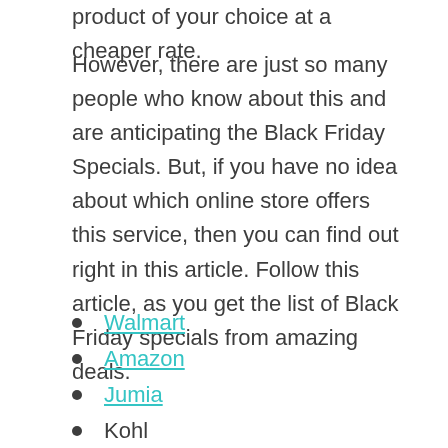product of your choice at a cheaper rate.
However, there are just so many people who know about this and are anticipating the Black Friday Specials. But, if you have no idea about which online store offers this service, then you can find out right in this article. Follow this article, as you get the list of Black Friday specials from amazing deals.
Walmart
Amazon
Jumia
Kohl
Sam's club